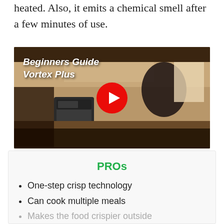heated. Also, it emits a chemical smell after a few minutes of use.
[Figure (screenshot): YouTube video thumbnail showing a woman standing next to an air fryer in a kitchen. Text overlay reads 'Beginners Guide Vortex Plus' with a YouTube play button in the center.]
PROs
One-step crisp technology
Can cook multiple meals
Makes the food crispier outside